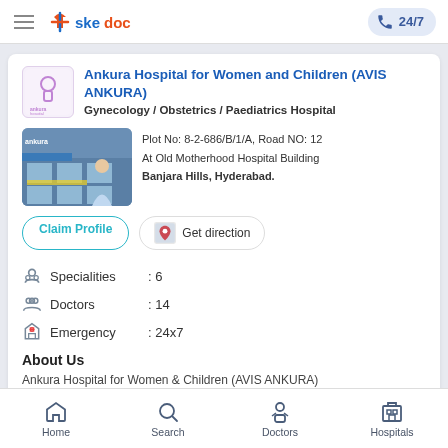[Figure (logo): Skedoc logo with hamburger menu and 24/7 call button in the top navigation bar]
Ankura Hospital for Women and Children (AVIS ANKURA)
Gynecology / Obstetrics / Paediatrics Hospital
[Figure (photo): Photo of Ankura Hospital building exterior with a woman in front]
Plot No: 8-2-686/B/1/A, Road NO: 12
At Old Motherhood Hospital Building
Banjara Hills, Hyderabad.
Claim Profile  |  Get direction
Specialities  : 6
Doctors  : 14
Emergency  : 24x7
About Us
Ankura Hospital for Women & Children (AVIS ANKURA)